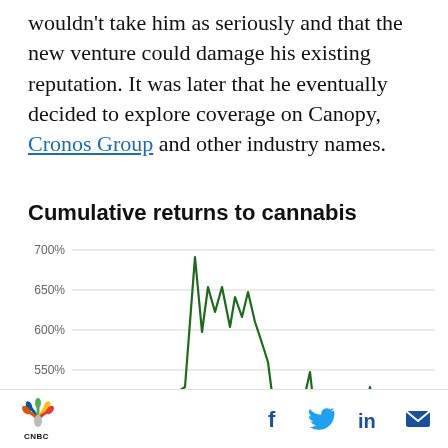wouldn't take him as seriously and that the new venture could damage his existing reputation. It was later that he eventually decided to explore coverage on Canopy, Cronos Group and other industry names.
[Figure (continuous-plot): Line chart showing cumulative returns to cannabis stocks over time. Y-axis ranges from approximately 500% to 700%+. The line shows a sharp spike to above 700% then volatile movements between 500-640% before declining.]
CNBC | Social share icons: Facebook, Twitter, LinkedIn, Email